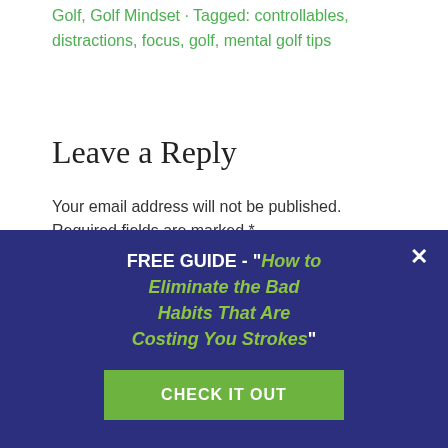Golf, Golf Mindset · Tagged: controllables, distractions, focus, golf, mental golf tips
Leave a Reply
Your email address will not be published. Required fields are marked *
FREE GUIDE - "How to Eliminate the Bad Habits That Are Costing You Strokes"
CHECK IT OUT